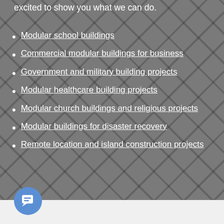excited to show you what we can do.
Modular school buildings
Commercial modular buildings for business
Government and military building projects
Modular healthcare building projects
Modular church buildings and religious projects
Modular buildings for disaster recovery
Remote location and island construction projects